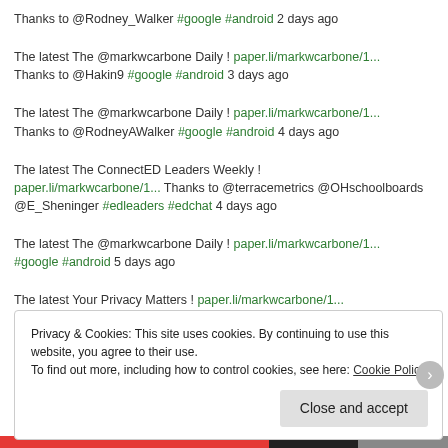Thanks to @Rodney_Walker #google #android 2 days ago
The latest The @markwcarbone Daily ! paper.li/markwcarbone/1... Thanks to @Hakin9 #google #android 3 days ago
The latest The @markwcarbone Daily ! paper.li/markwcarbone/1... Thanks to @RodneyAWalker #google #android 4 days ago
The latest The ConnectED Leaders Weekly ! paper.li/markwcarbone/1... Thanks to @terracemetrics @OHschoolboards @E_Sheninger #edleaders #edchat 4 days ago
The latest The @markwcarbone Daily ! paper.li/markwcarbone/1... #google #android 5 days ago
The latest Your Privacy Matters ! paper.li/markwcarbone/1... #cybersecurity #data 6 days ago
Privacy & Cookies: This site uses cookies. By continuing to use this website, you agree to their use. To find out more, including how to control cookies, see here: Cookie Policy